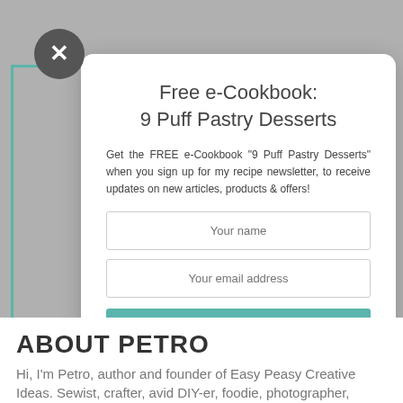Free e-Cookbook: 9 Puff Pastry Desserts
Get the FREE e-Cookbook "9 Puff Pastry Desserts" when you sign up for my recipe newsletter, to receive updates on new articles, products & offers!
ABOUT PETRO
Hi, I'm Petro, author and founder of Easy Peasy Creative Ideas. Sewist, crafter, avid DIY-er, foodie, photographer,